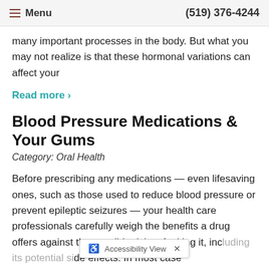Menu  (519) 376-4244
many important processes in the body. But what you may not realize is that these hormonal variations can affect your
Read more >
Blood Pressure Medications & Your Gums
Category: Oral Health
Before prescribing any medications — even lifesaving ones, such as those used to reduce blood pressure or prevent epileptic seizures — your health care professionals carefully weigh the benefits a drug offers against the possible risks of taking it, including its potential side effects. In most case